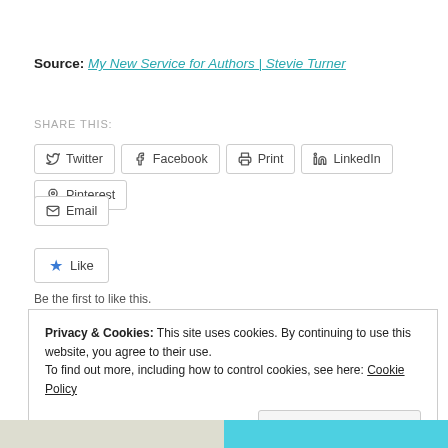Source: My New Service for Authors | Stevie Turner
SHARE THIS:
Twitter | Facebook | Print | LinkedIn | Pinterest | Email
Like
Be the first to like this.
Privacy & Cookies: This site uses cookies. By continuing to use this website, you agree to their use. To find out more, including how to control cookies, see here: Cookie Policy
Close and accept